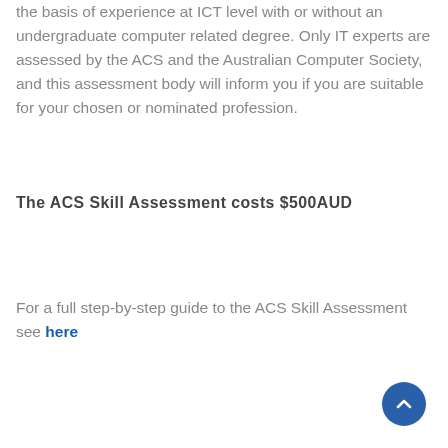the basis of experience at ICT level with or without an undergraduate computer related degree. Only IT experts are assessed by the ACS and the Australian Computer Society, and this assessment body will inform you if you are suitable for your chosen or nominated profession.
The ACS Skill Assessment costs $500AUD
For a full step-by-step guide to the ACS Skill Assessment see here